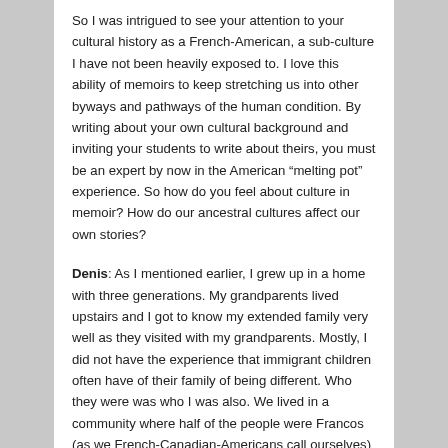So I was intrigued to see your attention to your cultural history as a French-American, a sub-culture I have not been heavily exposed to. I love this ability of memoirs to keep stretching us into other byways and pathways of the human condition. By writing about your own cultural background and inviting your students to write about theirs, you must be an expert by now in the American “melting pot” experience. So how do you feel about culture in memoir? How do our ancestral cultures affect our own stories?
Denis: As I mentioned earlier, I grew up in a home with three generations. My grandparents lived upstairs and I got to know my extended family very well as they visited with my grandparents. Mostly, I did not have the experience that immigrant children often have of their family of being different. Who they were was who I was also. We lived in a community where half of the people were Francos (as we French-Canadian-Americans call ourselves) so I had a sense we had a “right of place.” It is